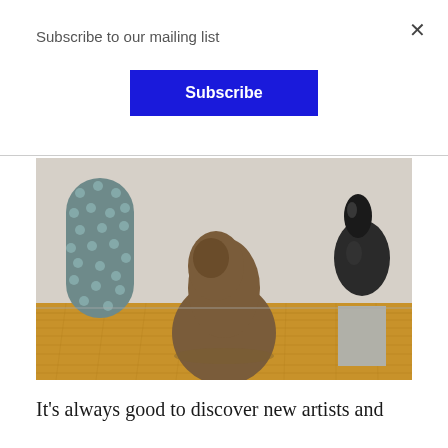Subscribe to our mailing list
Subscribe
[Figure (photo): Gallery interior with three sculptures on a wood parquet floor: a tall grey textured cylindrical column with bumps on the left, a person in a brown hooded robe kneeling in the center, and a dark gourd-shaped sculpture on a silver pedestal on the right, against a white wall.]
It’s always good to discover new artists and